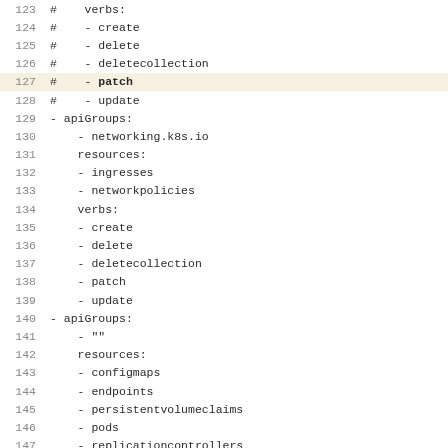123  #    verbs:
124  #    - create
125  #    - delete
126  #    - deletecollection
127  #    - patch
128  #    - update
129  - apiGroups:
130      - networking.k8s.io
131      resources:
132      - ingresses
133      - networkpolicies
134      verbs:
135      - create
136      - delete
137      - deletecollection
138      - patch
139      - update
140  - apiGroups:
141      - ""
142      resources:
143      - configmaps
144      - endpoints
145      - persistentvolumeclaims
146      - pods
147      - replicationcontrollers